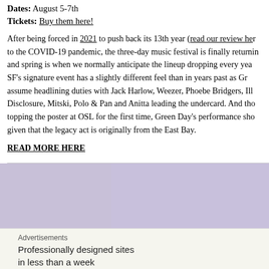Dates: August 5-7th
Tickets: Buy them here!
After being forced in 2021 to push back its 13th year (read our review here) to the COVID-19 pandemic, the three-day music festival is finally returning and spring is when we normally anticipate the lineup dropping every year. SF's signature event has a slightly different feel than in years past as Green Day assume headlining duties with Jack Harlow, Weezer, Phoebe Bridgers, Illenium, Disclosure, Mitski, Polo & Pan and Anitta leading the undercard. And though topping the poster at OSL for the first time, Green Day's performance should be given that the legacy act is originally from the East Bay.
READ MORE HERE
[Figure (illustration): Advertisement banner for Goldenvoice Presents This Ain't No Picnic festival, with colorful paint splash art on the left and bold text on the right over a purple/lavender background.]
Advertisements
Professionally designed sites in less than a week